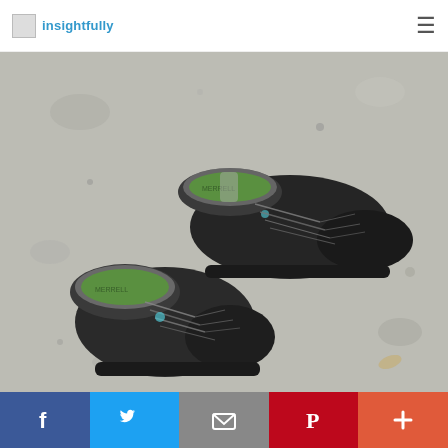insightfully
[Figure (photo): Overhead view of a pair of black running/trail shoes with green insoles, placed on a concrete/asphalt surface. The shoes have light grey trim and scattered laces.]
[Figure (infographic): Social sharing bar with five buttons: Facebook (blue), Twitter (light blue), Email (grey), Pinterest (red), More (orange-red)]